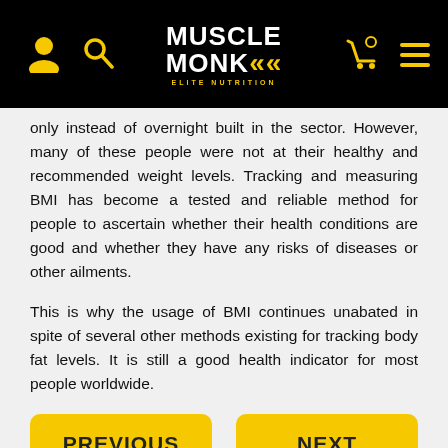MUSCLE MONK — ELITE NUTRITION
only instead of overnight built in the sector. However, many of these people were not at their healthy and recommended weight levels. Tracking and measuring BMI has become a tested and reliable method for people to ascertain whether their health conditions are good and whether they have any risks of diseases or other ailments.
This is why the usage of BMI continues unabated in spite of several other methods existing for tracking body fat levels. It is still a good health indicator for most people worldwide.
PREVIOUS
NEXT
[Figure (logo): Muscle Monk Elite Nutrition logo in footer image area with dark background and athlete silhouette]